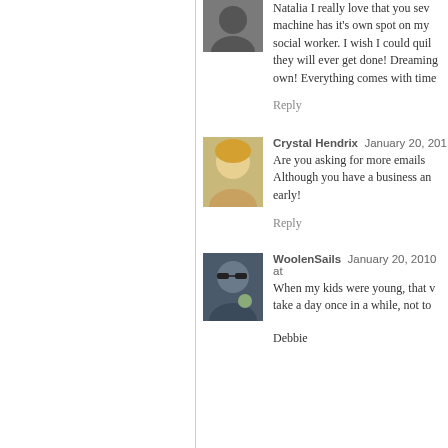[Figure (photo): Avatar photo of commenter (top, partially visible)]
Natalia I really love that you sew... machine has it's own spot on my... social worker. I wish I could quil... they will ever get done! Dreaming... own! Everything comes with time...
Reply
[Figure (photo): Avatar photo of Crystal Hendrix]
Crystal Hendrix  January 20, 201...
Are you asking for more emails... Although you have a business an... early!
Reply
[Figure (photo): Avatar photo of WoolenSails]
WoolenSails  January 20, 2010 at...
When my kids were young, that v... take a day once in a while, not to...
Debbie